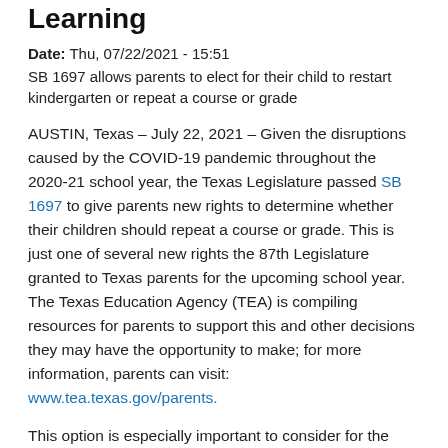Learning
Date: Thu, 07/22/2021 - 15:51
SB 1697 allows parents to elect for their child to restart kindergarten or repeat a course or grade
AUSTIN, Texas – July 22, 2021 – Given the disruptions caused by the COVID-19 pandemic throughout the 2020-21 school year, the Texas Legislature passed SB 1697 to give parents new rights to determine whether their children should repeat a course or grade. This is just one of several new rights the 87th Legislature granted to Texas parents for the upcoming school year. The Texas Education Agency (TEA) is compiling resources for parents to support this and other decisions they may have the opportunity to make; for more information, parents can visit: www.tea.texas.gov/parents.
This option is especially important to consider for the parents of the nearly 25,000 children in Texas who were eligible for kindergarten in School Year 2020-21, but who did not enroll, as well as for those in other grades who lost learning from the